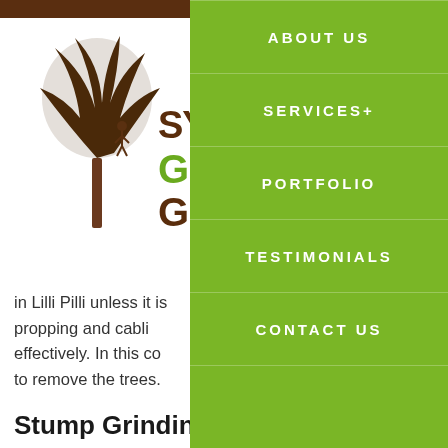[Figure (logo): Sydney Green Group logo — brown tree silhouette with a figure climbing, text SYDNEY GREEN GROUP in brown and green]
in Lilli Pilli unless it is propping and cabling effectively. In this co to remove the trees.
Stump Grinding
You will find that we approach to our wo completed methodi to the workings of y removing the tree, w removal services. W
[Figure (screenshot): Green navigation menu overlay with items: ABOUT US, SERVICES+, PORTFOLIO, TESTIMONIALS, CONTACT US]